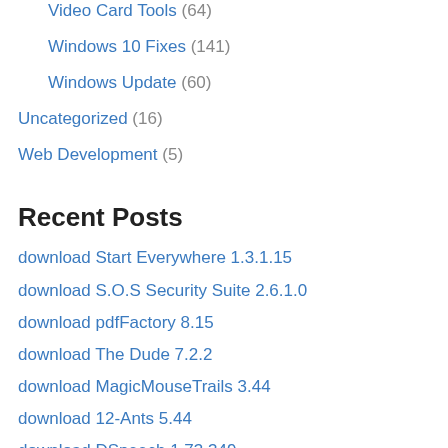Video Card Tools (64)
Windows 10 Fixes (141)
Windows Update (60)
Uncategorized (16)
Web Development (5)
Recent Posts
download Start Everywhere 1.3.1.15
download S.O.S Security Suite 2.6.1.0
download pdfFactory 8.15
download The Dude 7.2.2
download MagicMouseTrails 3.44
download 12-Ants 5.44
download DSpeech 1.73.349